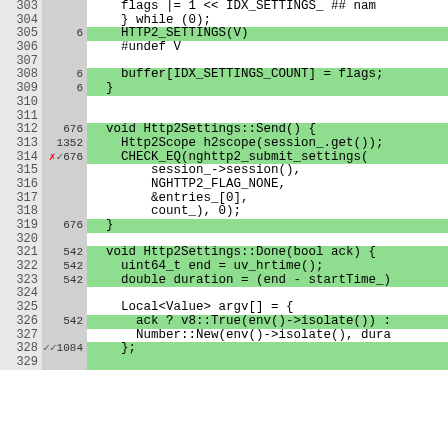[Figure (screenshot): Code coverage view showing C++ source code lines 303-328 with line numbers, hit counts, and green highlighting for covered lines. Code involves HTTP2 settings functions including HTTP2_SETTINGS, Http2Settings::Send(), and Http2Settings::Done().]